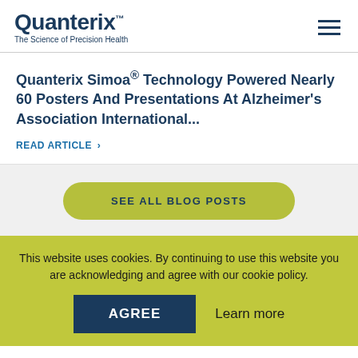Quanterix™ The Science of Precision Health
Quanterix Simoa® Technology Powered Nearly 60 Posters And Presentations At Alzheimer's Association International...
READ ARTICLE >
SEE ALL BLOG POSTS
This website uses cookies. By continuing to use this website you are acknowledging and agree with our cookie policy.
AGREE
Learn more